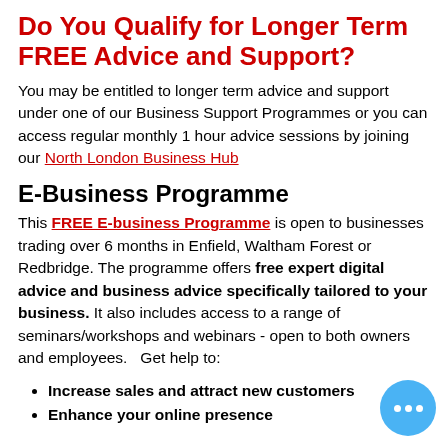Do You Qualify for Longer Term FREE Advice and Support?
You may be entitled to longer term advice and support under one of our Business Support Programmes or you can access regular monthly 1 hour advice sessions by joining our North London Business Hub
E-Business Programme
This FREE E-business Programme is open to businesses trading over 6 months in Enfield, Waltham Forest or Redbridge. The programme offers free expert digital advice and business advice specifically tailored to your business. It also includes access to a range of seminars/workshops and webinars - open to both owners and employees.   Get help to:
Increase sales and attract new customers
Enhance your online presence